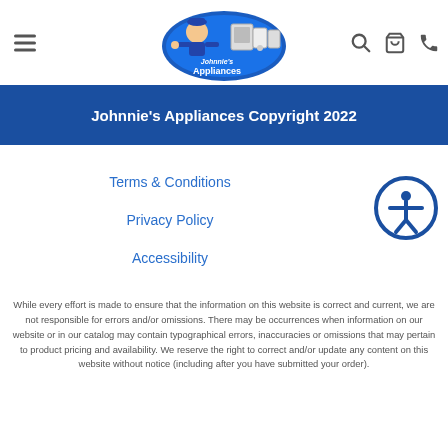[Figure (logo): Johnnie's Appliances logo — cartoon repairman with appliances in a blue oval badge]
Johnnie's Appliances Copyright 2022
Terms & Conditions
Privacy Policy
Accessibility
[Figure (illustration): Accessibility icon — person with outstretched arms in a circle]
While every effort is made to ensure that the information on this website is correct and current, we are not responsible for errors and/or omissions. There may be occurrences when information on our website or in our catalog may contain typographical errors, inaccuracies or omissions that may pertain to product pricing and availability. We reserve the right to correct and/or update any content on this website without notice (including after you have submitted your order).